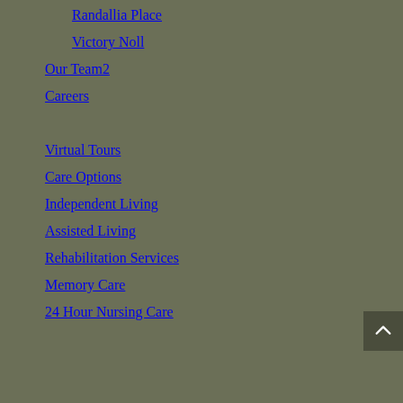Randallia Place
Victory Noll
Our Team2
Careers
Virtual Tours
Care Options
Independent Living
Assisted Living
Rehabilitation Services
Memory Care
24 Hour Nursing Care